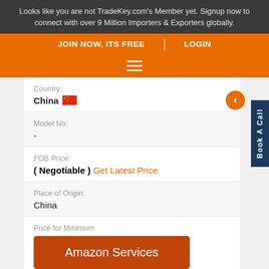Looks like you are not TradeKey.com's Member yet. Signup now to connect with over 9 Million Importers & Exporters globally.
JOIN NOW, ITS FREE | LOGIN
[Figure (other): Hamburger menu icon (three horizontal lines) on orange bar]
Country:
China
Model No:
-
FOB Price:
( Negotiable ) Get Latest Price
Place of Origin:
China
Price for Minimum
Amazon Services
Minimum Order